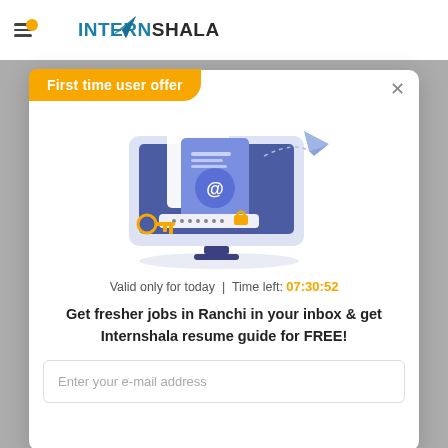[Figure (logo): Internshala logo with hamburger menu icon, orange notification dot, and paper plane icon]
First time user offer
×
[Figure (illustration): Illustration of a computer monitor displaying an email with @ symbol, a key, and a paper airplane flying with a dashed arc path]
Valid only for today | Time left: 07:30:52
Get fresher jobs in Ranchi in your inbox & get Internshala resume guide for FREE!
Enter your e-mail address